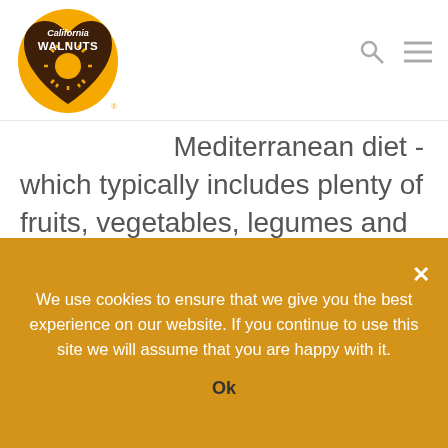[Figure (logo): California Walnuts logo — heart-shaped brown shield with golden sun/star burst, text 'California WALNUTS', gold circular border]
Mediterranean diet - which typically includes plenty of fruits, vegetables, legumes and pulses, as well as nuts, whole grains, fish and unsaturated fats such as olive oil - is an ideal choice. How can a Mediterranean diet help? Research shows that a Mediterranean diet including tree nuts, primarily walnuts, was associated with
We use cookies to ensure that we give you the best experience on our website. If you continue to use this site we will assume that you are happy with it.
Ok